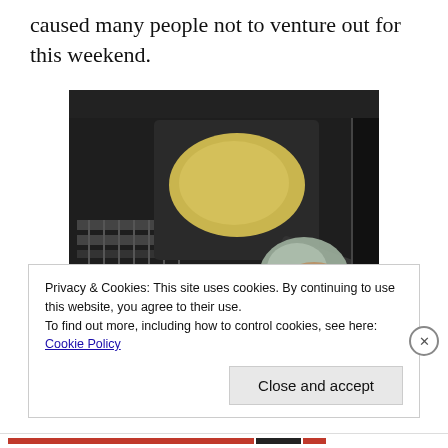caused many people not to venture out for this weekend.
[Figure (photo): A hand holding a skillet pan with batter being placed into a camp stove oven]
Privacy & Cookies: This site uses cookies. By continuing to use this website, you agree to their use.
To find out more, including how to control cookies, see here: Cookie Policy